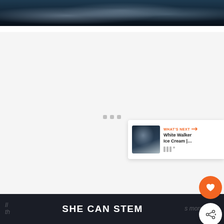[Figure (photo): Top portion of a food photo showing ice cream or similar dessert in a dark blue bowl, with a dark blue/teal background]
[Figure (screenshot): Video player area with gray/white background showing loading dots (three small gray squares), with floating action buttons (heart/favorite in orange, share in white), and a 'What's Next' card showing White Walker Ice Cream thumbnail and title]
SHE CAN STEM
s more
th